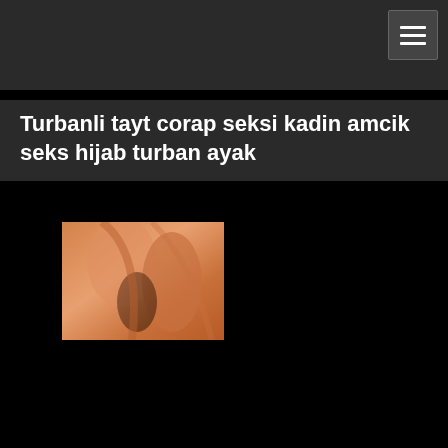Turbanli tayt corap seksi kadin amcik seks hijab turban ayak
[Figure (photo): Close-up photo with warm skin tones on a dark background]